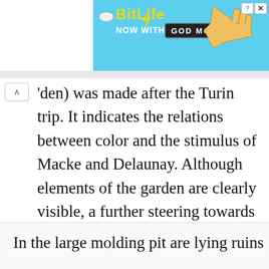[Figure (screenshot): BitLife advertisement banner with 'NOW WITH GOD MODE' text, sperm logo, pointing hand graphic, on blue background]
den) was made after the Turin trip. It indicates the relations between color and the stimulus of Macke and Delaunay. Although elements of the garden are clearly visible, a further steering towards abstraction is noticeable. In his diary Klee wrote the following note at that time:
In the large molding pit are lying ruins